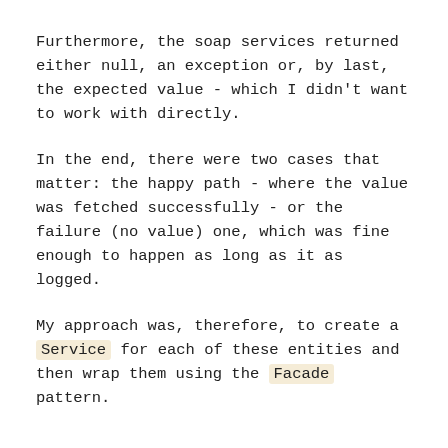Furthermore, the soap services returned either null, an exception or, by last, the expected value - which I didn't want to work with directly.
In the end, there were two cases that matter: the happy path - where the value was fetched successfully - or the failure (no value) one, which was fine enough to happen as long as it as logged.
My approach was, therefore, to create a Service for each of these entities and then wrap them using the Facade pattern.